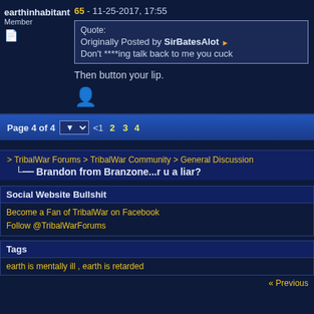earthinhabitant
Member
65 - 11-25-2017, 17:55
Quote:
Originally Posted by SirBatesAlot
Don't ****ing talk back to me you cuck
Then button your lip.
Page 4 of 4  <1 2 3 4
> TribalWar Forums > TribalWar Community > General Discussion
.... Brandon from Branzone...r u a liar?
Social Website Bullshit
Become a Fan of TribalWar on Facebook
Follow @TribalWarForums
Tags
earth is mentally ill , earth is retarded
« Previous